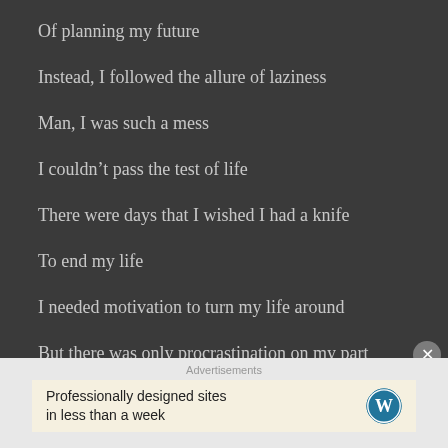Of planning my future
Instead, I followed the allure of laziness
Man, I was such a mess
I couldn’t pass the test of life
There were days that I wished I had a knife
To end my life
I needed motivation to turn my life around
But there was only procrastination on my part
Advertisements
Professionally designed sites in less than a week